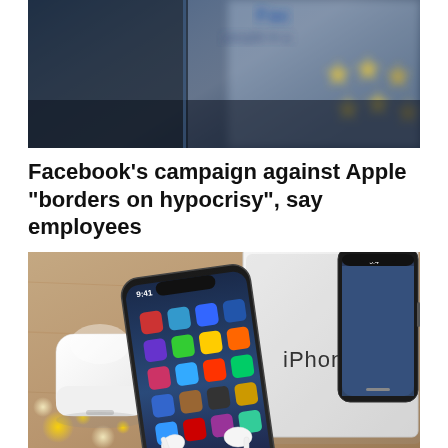[Figure (photo): Blurred close-up of a computer screen showing Facebook interface with 'people in...' text and star rating icons visible]
Facebook’s campaign against Apple “borders on hypocrisy”, say employees
[Figure (photo): Photo of an iPhone X next to its white retail box labeled 'iPhone', with Apple AirPods and AirPods case placed nearby on a wooden surface with bokeh lights]